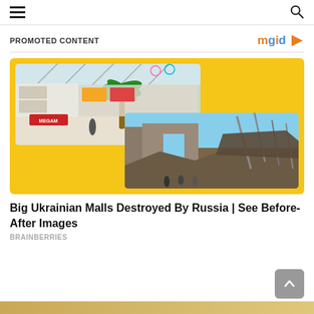Navigation header with hamburger menu and search icon
PROMOTED CONTENT
[Figure (illustration): MGID logo with play button icon]
[Figure (photo): Composite promotional card with yellow background showing two photos: top-left shows interior of a large shopping mall with palm tree, bottom-right shows destroyed building rubble under blue sky]
Big Ukrainian Malls Destroyed By Russia | See Before-After Images
BRAINBERRIES
[Figure (photo): Partial image at bottom of page, appears to be another promotional content image]